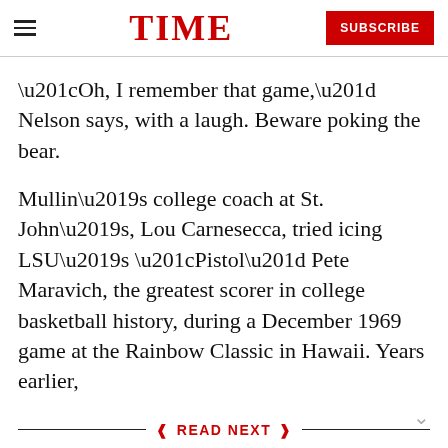TIME
“Oh, I remember that game,” Nelson says, with a laugh. Beware poking the bear.
Mullin’s college coach at St. John’s, Lou Carnesecca, tried icing LSU’s “Pistol” Pete Maravich, the greatest scorer in college basketball history, during a December 1969 game at the Rainbow Classic in Hawaii. Years earlier,
READ NEXT
[Figure (photo): Crowd scene photo, person holding a sign]
Donald Sterling Visits Black Church In Los Angeles